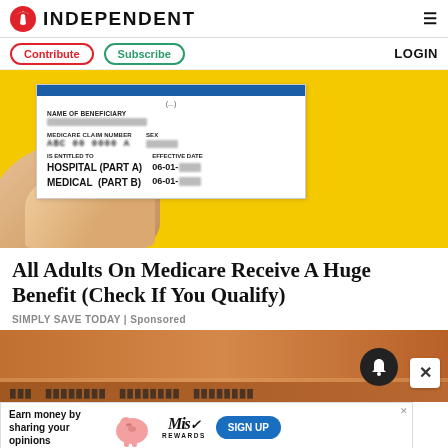INDEPENDENT
Contribute | Subscribe | LOGIN
[Figure (photo): Medicare card held up against a yellow background showing NAME OF BENEFICIARY, MEDICARE CLAIM NUMBER, IS ENTITLED TO HOSPITAL (PART A) 06-01- and MEDICAL (PART B) 06-01- with personal details blurred]
All Adults On Medicare Receive A Huge Benefit (Check If You Qualify)
SIMPLY SAVE TODAY | Sponsored
[Figure (photo): Partial view of a second advertisement image with copper/brown tones]
Earn money by sharing your opinions — MIS Rewards SIGN UP advertisement banner